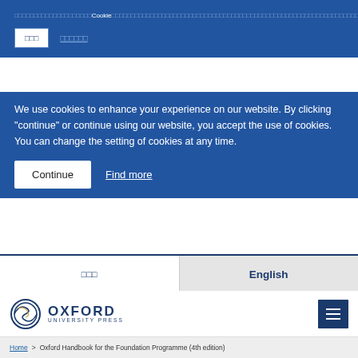□□□□□□□□□□□□□□□□□□□□Cookie□□□□□□□□□□□□□□□□□□□□□□□□□□□□□□□□□□□□□□□□□□□□□□□□□□□□□□□□□□□□□□□□□□□□□□□□□□□□□□□□□□□□□□□□□□□□□□□□□□□□□□□□□□□□□□□□□□□□□□□□□□□
We use cookies to enhance your experience on our website. By clicking "continue" or continue using our website, you accept the use of cookies. You can change the setting of cookies at any time.
Continue    Find more
□□□    English
[Figure (logo): Oxford University Press logo with circular emblem and text OXFORD UNIVERSITY PRESS]
Home > Oxford Handbook for the Foundation Programme (4th edition)